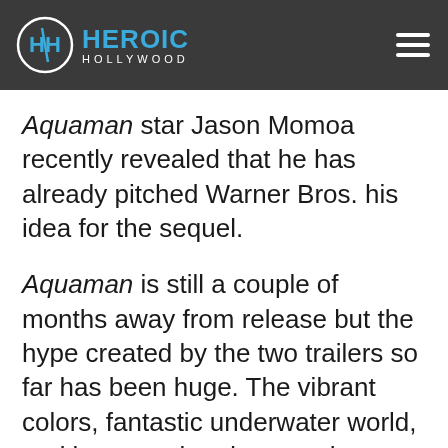Heroic Hollywood
Aquaman star Jason Momoa recently revealed that he has already pitched Warner Bros. his idea for the sequel.
Aquaman is still a couple of months away from release but the hype created by the two trailers so far has been huge. The vibrant colors, fantastic underwater world, and large-scale adventure have been impressing fans ever since the trailer premiered at this year's San Diego Comic-Con. Considering it's opening in a crowded weekend, the film has a lot to prove but the team behind the film seem confident enough in the DC